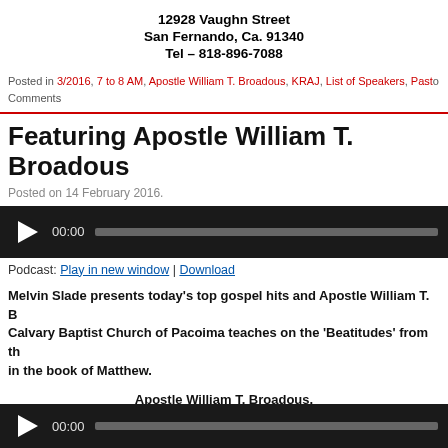12928 Vaughn Street
San Fernando, Ca. 91340
Tel – 818-896-7088
Posted in 3/2016, 7 to 8 AM, Apostle William T. Broadous, KRAJ, List of Speakers, Past… Comments
Featuring Apostle William T. Broadous
Posted on 14 February 2016.
[Figure (other): Audio player with play button, 00:00 timestamp, and progress bar on dark background]
Podcast: Play in new window | Download
Melvin Slade presents today's top gospel hits and Apostle William T. B… Calvary Baptist Church of Pacoima teaches on the 'Beatitudes' from th… in the book of Matthew.
Apostle William T. Broadous,
Pastor, Calvary Baptist Church of Pacoima
'Beatitudes'
[Figure (other): Audio player with play button, 00:00 timestamp, and progress bar on dark background]